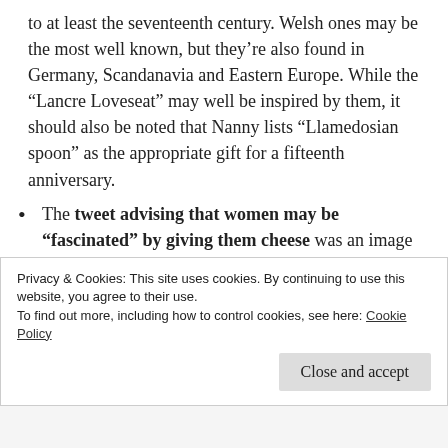to at least the seventeenth century. Welsh ones may be the most well known, but they're also found in Germany, Scandanavia and Eastern Europe. While the “Lancre Loveseat” may well be inspired by them, it should also be noted that Nanny lists “Llamedosian spoon” as the appropriate gift for a fifteenth anniversary.
The tweet advising that women may be “fascinated” by giving them cheese was an image of a page from the 1971 book The Complete Book of Magic and Witchcraft by Kathryn Paulsen. You can read more about the history of cheese in witchcraft in this article from The Conversation, inspired by the original tweet by Gavin Wren, which we've
Privacy & Cookies: This site uses cookies. By continuing to use this website, you agree to their use.
To find out more, including how to control cookies, see here: Cookie Policy